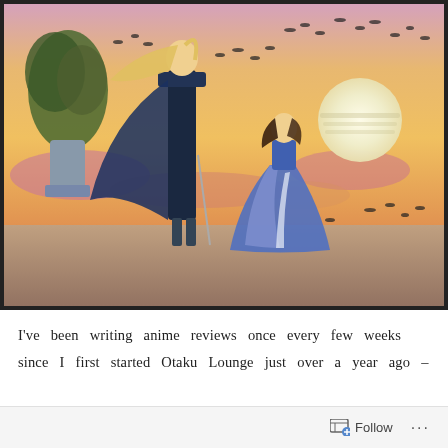[Figure (illustration): Anime illustration showing two figures standing against a sunset sky. A tall figure with long blonde windswept hair wearing a dark military uniform stands on the left. A woman in a flowing blue and white dress stands to the right. Birds fly in the orange and pink sky. A large white sun is visible on the right side.]
I've been writing anime reviews once every few weeks since I first started Otaku Lounge just over a year ago –
Follow ...